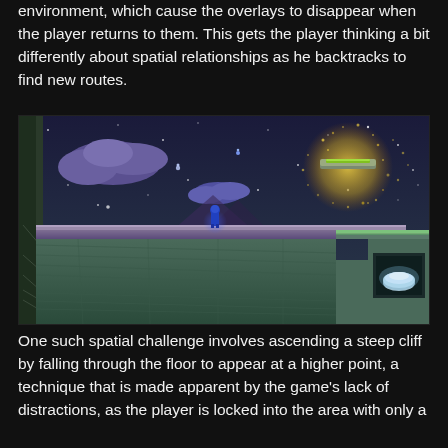environment, which cause the overlays to disappear when the player returns to them. This gets the player thinking a bit differently about spatial relationships as he backtracks to find new routes.
[Figure (screenshot): A 2D side-scrolling platformer game screenshot with a dark blue/teal night sky background with stars and sparkles. A character stands on a ledge made of textured green/teal stone. To the upper left are purple-blue clouds. To the upper right is a glowing golden particle cloud with a small green platform inside it. On the right side is a recessed alcove in the cliff with a glowing white object inside.]
One such spatial challenge involves ascending a steep cliff by falling through the floor to appear at a higher point, a technique that is made apparent by the game's lack of distractions, as the player is locked into the area with only a